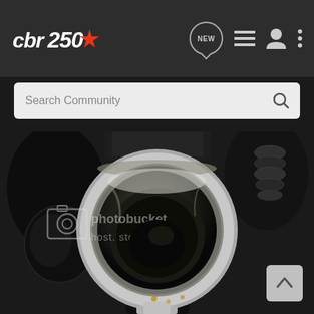CBR250 community forum header with logo, NEW button, list icon, user icon, and more options icon
Search Community
[Figure (photo): Close-up photograph of a motorcycle exhaust pipe or intake port opening, showing a circular metal flange with a dark interior. The metal surface is weathered and dirty with some discoloration. A photobucket watermark reading 'photobucket host. store. share' is overlaid on the image. Black hoses and other engine components are visible in the background.]